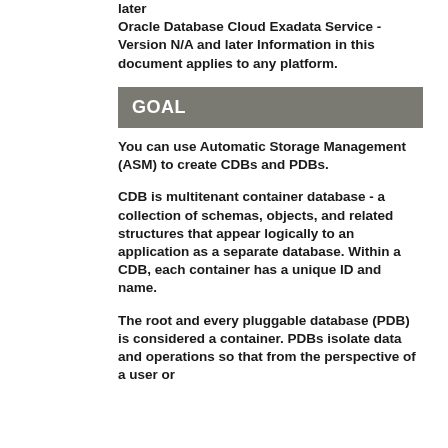later
Oracle Database Cloud Exadata Service - Version N/A and later
Information in this document applies to any platform.
GOAL
You can use Automatic Storage Management (ASM) to create CDBs and PDBs.
CDB is multitenant container database - a collection of schemas, objects, and related structures that appear logically to an application as a separate database. Within a CDB, each container has a unique ID and name.
The root and every pluggable database (PDB) is considered a container. PDBs isolate data and operations so that from the perspective of a user or